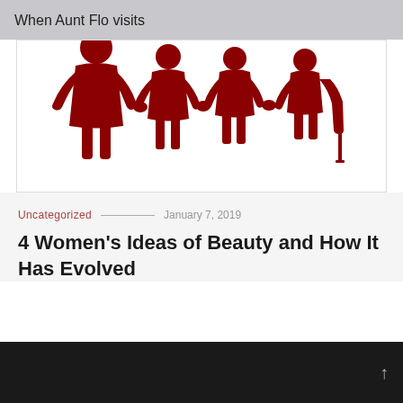When Aunt Flo visits
[Figure (illustration): Four dark red silhouette icons of women of different ages/sizes standing together holding hands, the rightmost using a cane. Illustration style on white background.]
Uncategorized — January 7, 2019
4 Women's Ideas of Beauty and How It Has Evolved
↑